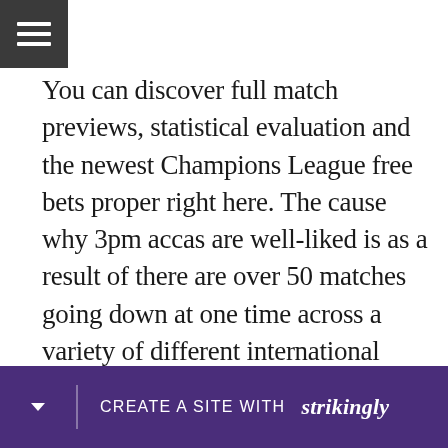[Figure (other): Hamburger menu icon button with three white horizontal lines on dark gray background]
You can discover full match previews, statistical evaluation and the newest Champions League free bets proper right here. The cause why 3pm accas are well-liked is as a result of there are over 50 matches going down at one time across a variety of different international locations. You get to comply with all the games without delay in real time which provides an extra bit of excitement to your wager. Easyodds prides itself on offe                                                    ns and                                                    eir
[Figure (other): Strikingly website builder promotional banner bar in purple with 'CREATE A SITE WITH strikingly' text]